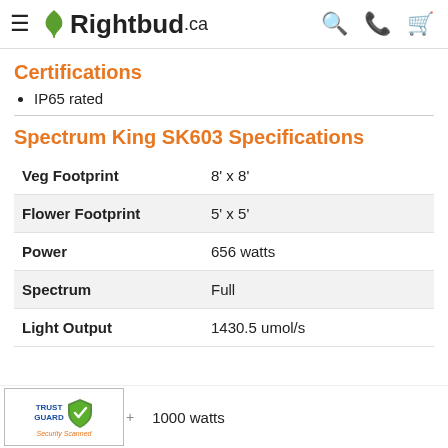Rightbud.ca
Certifications
IP65 rated
Spectrum King SK603 Specifications
|  |  |
| --- | --- |
| Veg Footprint | 8' x 8' |
| Flower Footprint | 5' x 5' |
| Power | 656 watts |
| Spectrum | Full |
| Light Output | 1430.5 umol/s |
1000 watts